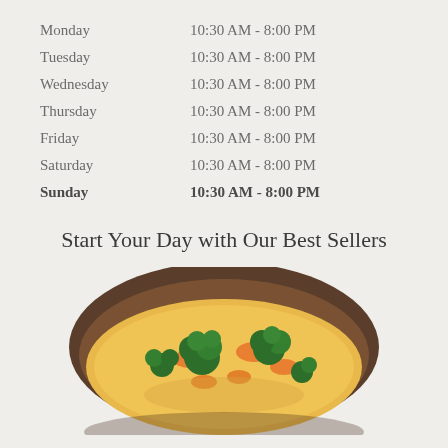| Day | Hours |
| --- | --- |
| Monday | 10:30 AM - 8:00 PM |
| Tuesday | 10:30 AM - 8:00 PM |
| Wednesday | 10:30 AM - 8:00 PM |
| Thursday | 10:30 AM - 8:00 PM |
| Friday | 10:30 AM - 8:00 PM |
| Saturday | 10:30 AM - 8:00 PM |
| Sunday | 10:30 AM - 8:00 PM |
Start Your Day with Our Best Sellers
[Figure (photo): A bowl of creamy broccoli cheddar soup with visible broccoli florets and carrots in a dark wooden bowl, photographed from above at a slight angle.]